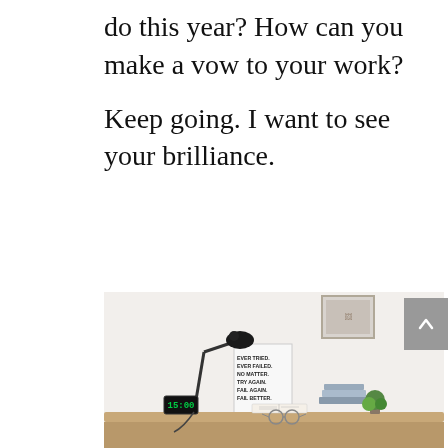do this year? How can you make a vow to your work?
Keep going. I want to see your brilliance.
[Figure (photo): A minimalist desk setup with a black adjustable desk lamp, a digital clock showing 15:00, open books, a small plant, a framed picture on the wall, and a motivational poster reading 'EVER TRIED. EVER FAILED. NO MATTER. TRY AGAIN. FAIL AGAIN. FAIL BETTER.']